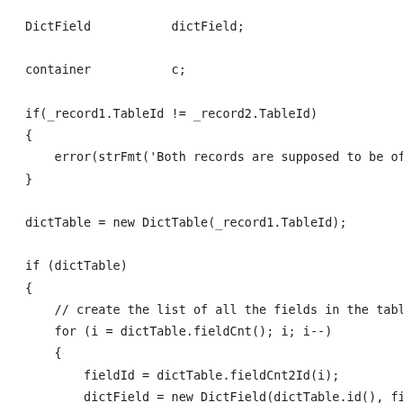DictField           dictField;

container           c;

if(_record1.TableId != _record2.TableId)
{
    error(strFmt('Both records are supposed to be of
}

dictTable = new DictTable(_record1.TableId);

if (dictTable)
{
    // create the list of all the fields in the table
    for (i = dictTable.fieldCnt(); i; i--)
    {
        fieldId = dictTable.fieldCnt2Id(i);
        dictField = new DictField(dictTable.id(), fie
        list.addEnd([fieldId, fieldId2name(dictTable.
    }

    buffer1 = dictTable.makeRecord();
    buffer2 = dictTable.makeRecord();

    select buffer1 where buffer1.RecId == _record1.re
    select buffer2 where buffer2.RecId == _record2.re